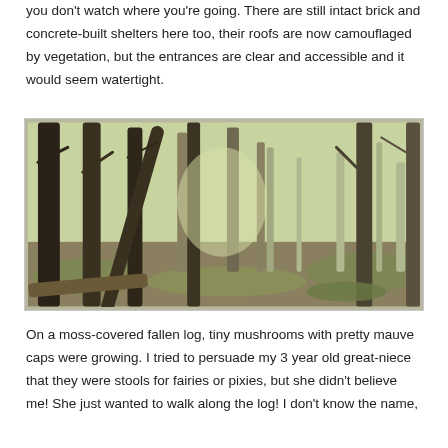you don't watch where you're going. There are still intact brick and concrete-built shelters here too, their roofs are now camouflaged by vegetation, but the entrances are clear and accessible and it would seem watertight.
[Figure (photo): A woodland scene with tall bare trees, green mossy ground cover, dappled light filtering through the canopy.]
On a moss-covered fallen log, tiny mushrooms with pretty mauve caps were growing. I tried to persuade my 3 year old great-niece that they were stools for fairies or pixies, but she didn't believe me! She just wanted to walk along the log! I don't know the name,